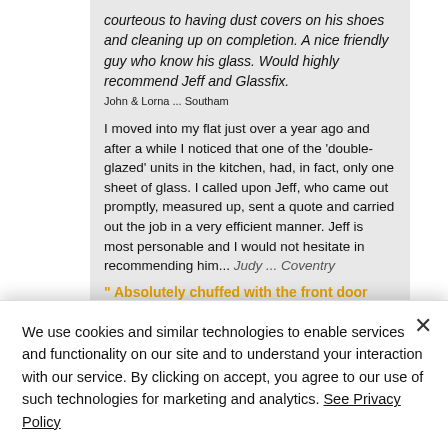courteous to having dust covers on his shoes and cleaning up on completion. A nice friendly guy who know his glass. Would highly recommend Jeff and Glassfix.
John & Lorna ... Southam
I moved into my flat just over a year ago and after a while I noticed that one of the 'double-glazed' units in the kitchen, had, in fact, only one sheet of glass. I called upon Jeff, who came out promptly, measured up, sent a quote and carried out the job in a very efficient manner. Jeff is most personable and I would not hesitate in recommending him... Judy ... Coventry
" Absolutely chuffed with the front door
We use cookies and similar technologies to enable services and functionality on our site and to understand your interaction with our service. By clicking on accept, you agree to our use of such technologies for marketing and analytics. See Privacy Policy
Cookie Settings
Accept